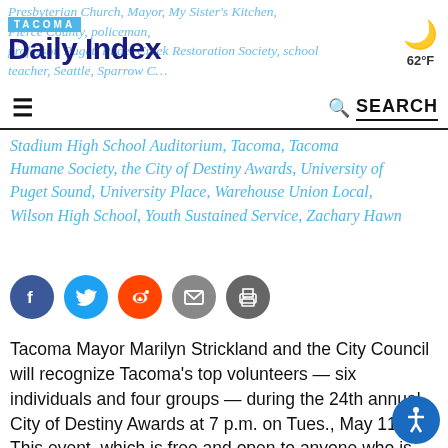TACOMA Daily Index
Stadium High School Auditorium, Tacoma, Tacoma Humane Society, the City of Destiny Awards, University of Puget Sound, University Place, Warehouse Union Local, Wilson High School, Youth Sustained Service, Zachary Hawn
[Figure (infographic): Social share icons: Facebook (blue), Twitter (blue), Reddit (orange), Email (grey), Print (grey)]
Tacoma Mayor Marilyn Strickland and the City Council will recognize Tacoma's top volunteers — six individuals and four groups — during the 24th annual City of Destiny Awards at 7 p.m. on Tues., May 11. This event, which is free and open to anyone who is interested in learning more about the volunteer experience, will be held at the Stadium High School Auditorium.